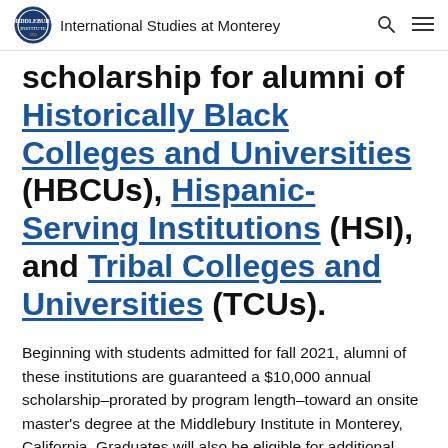International Studies at Monterey
scholarship for alumni of Historically Black Colleges and Universities (HBCUs), Hispanic-Serving Institutions (HSI), and Tribal Colleges and Universities (TCUs).
Beginning with students admitted for fall 2021, alumni of these institutions are guaranteed a $10,000 annual scholarship–prorated by program length–toward an onsite master's degree at the Middlebury Institute in Monterey, California. Graduates will also be eligible for additional...